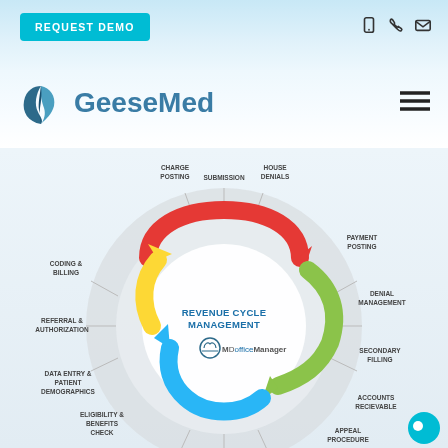REQUEST DEMO
[Figure (logo): GeeseMed logo with teal goose icon and teal text]
[Figure (infographic): Revenue Cycle Management circular diagram showing: Submission, House Denials, Payment Posting, Denial Management, Secondary Filling, Accounts Receivable, Appeal Procedure, Eligibility & Benefits Check, Data Entry & Patient Demographics, Referral & Authorization, Coding & Billing, Charge Posting. Center text: REVENUE CYCLE MANAGEMENT with MDofficeManager logo. Colored arrows: red (top), green (right), blue (bottom), yellow (left).]